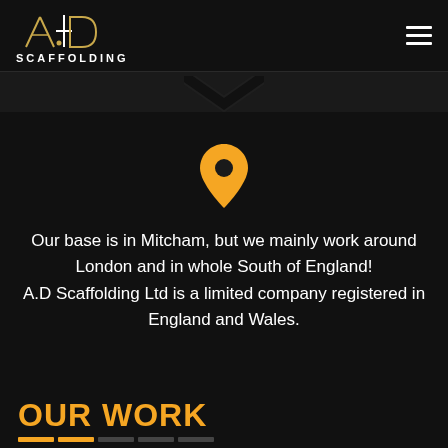[Figure (logo): A.D Scaffolding company logo with geometric letter marks in gold/white on dark background]
[Figure (illustration): Orange map location pin icon centered on dark background]
Our base is in Mitcham, but we mainly work around London and in whole South of England! A.D Scaffolding Ltd is a limited company registered in England and Wales.
OUR WORK